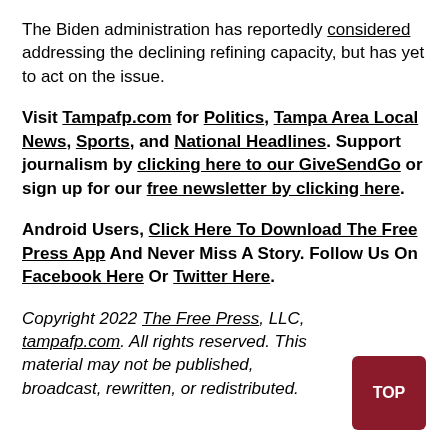The Biden administration has reportedly considered addressing the declining refining capacity, but has yet to act on the issue.
Visit Tampafp.com for Politics, Tampa Area Local News, Sports, and National Headlines. Support journalism by clicking here to our GiveSendGo or sign up for our free newsletter by clicking here.
Android Users, Click Here To Download The Free Press App And Never Miss A Story. Follow Us On Facebook Here Or Twitter Here.
Copyright 2022 The Free Press, LLC, tampafp.com. All rights reserved. This material may not be published, broadcast, rewritten, or redistributed.